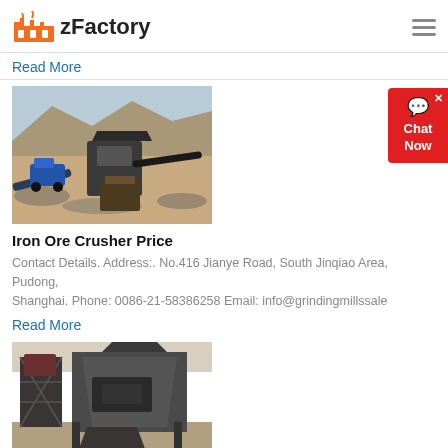zFactory
Read More
[Figure (photo): Iron ore crushing machinery at a mining site, with conveyor belts and heavy equipment on rocky terrain]
Iron Ore Crusher Price
Contact Details. Address:. No.416 Jianye Road, South Jinqiao Area, Pudong, Shanghai. Phone: 0086-21-58386258 Email: info@grindingmillssale
Read More
[Figure (photo): Large industrial crusher or jaw crusher machine at a construction or mining facility, showing a tall steel frame tower and heavy machinery components]